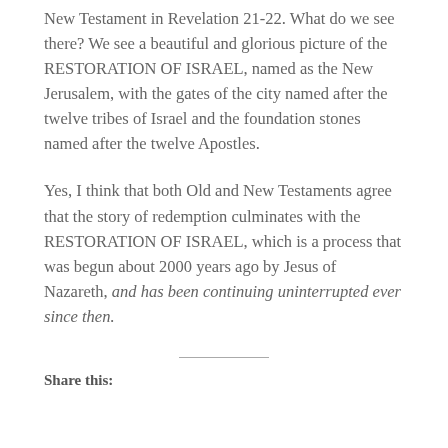New Testament in Revelation 21-22. What do we see there? We see a beautiful and glorious picture of the RESTORATION OF ISRAEL, named as the New Jerusalem, with the gates of the city named after the twelve tribes of Israel and the foundation stones named after the twelve Apostles.
Yes, I think that both Old and New Testaments agree that the story of redemption culminates with the RESTORATION OF ISRAEL, which is a process that was begun about 2000 years ago by Jesus of Nazareth, and has been continuing uninterrupted ever since then.
Share this: